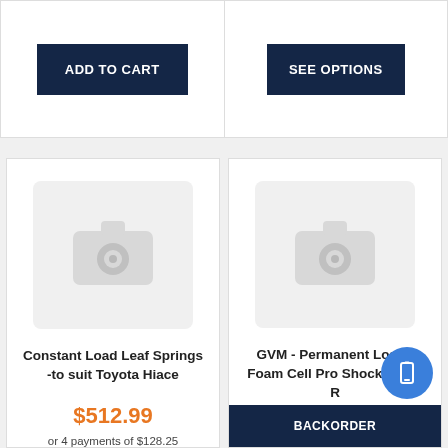ADD TO CART
SEE OPTIONS
[Figure (photo): Product image placeholder (camera icon) for Constant Load Leaf Springs -to suit Toyota Hiace]
Constant Load Leaf Springs -to suit Toyota Hiace
$512.99
or 4 payments of $128.25
[Figure (photo): Product image placeholder (camera icon) for GVM - Permanent Load - Foam Cell Pro Shocks Post R]
GVM - Permanent Load - Foam Cell Pro Shocks Post R
$3,769.6
BACKORDER